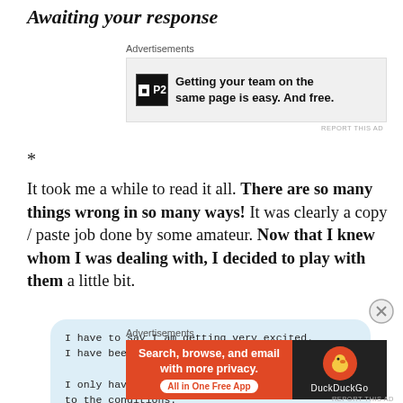Awaiting your response
[Figure (other): P2 advertisement: Getting your team on the same page is easy. And free.]
*
It took me a while to read it all. There are so many things wrong in so many ways! It was clearly a copy / paste job done by some amateur. Now that I knew whom I was dealing with, I decided to play with them a little bit.
[Figure (screenshot): Chat bubble with text: I have to say I am getting very excited. I have been waiting all my life for this! I only have two questions before I can agree to the conditions.]
[Figure (other): DuckDuckGo advertisement: Search, browse, and email with more privacy. All in One Free App]